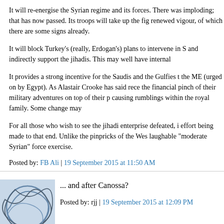It will re-energise the Syrian regime and its forces. There was imploding; that has now passed. Its troops will take up the fig renewed vigour, of which there are some signs already.
It will block Turkey's (really, Erdogan's) plans to intervene in S and indirectly support the jihadis. This may well have internal
It provides a strong incentive for the Saudis and the Gulfies t the ME (urged on by Egypt). As Alastair Crooke has said rece the financial pinch of their military adventures on top of their p causing rumblings within the royal family. Some change may
For all those who wish to see the jihadi enterprise defeated, i effort being made to that end. Unlike the pinpricks of the Wes laughable "moderate Syrian" force exercise.
Posted by: FB Ali | 19 September 2015 at 11:50 AM
[Figure (illustration): Abstract geometric avatar icon with overlapping curved lines on light blue background]
... and after Canossa?
Posted by: rjj | 19 September 2015 at 12:09 PM